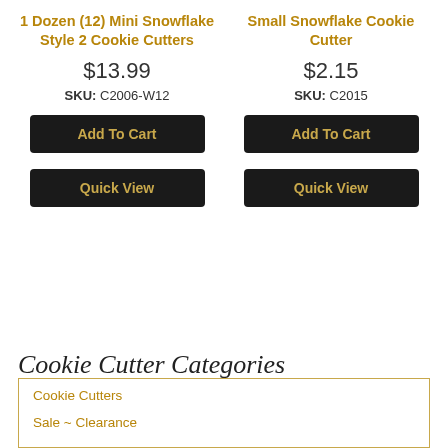1 Dozen (12) Mini Snowflake Style 2 Cookie Cutters
$13.99
SKU: C2006-W12
Add To Cart
Quick View
Small Snowflake Cookie Cutter
$2.15
SKU: C2015
Add To Cart
Quick View
Cookie Cutter Categories
Cookie Cutters
Sale ~ Clearance